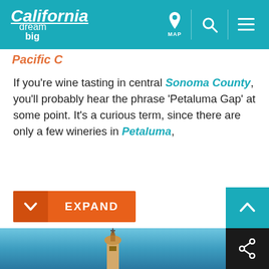California dream big — navigation header with MAP, search, and menu icons
Pacific Coast (partially visible, cut off)
If you're wine tasting in central Sonoma County, you'll probably hear the phrase 'Petaluma Gap' at some point. It's a curious term, since there are only a few wineries in Petaluma,
EXPAND
[Figure (photo): Bottom strip showing a blue sky and top of a tower/mission building]